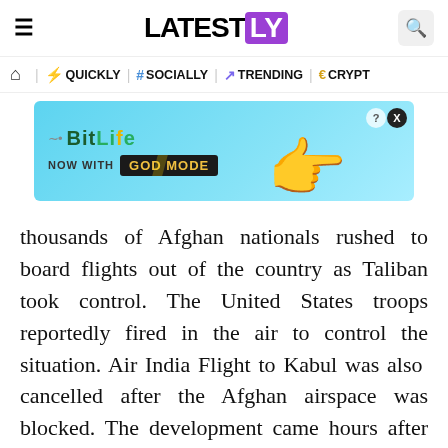LATESTLY
[Figure (screenshot): Navigation bar with icons: home, QUICKLY, # SOCIALLY, trending arrow TRENDING, crypto symbol CRYPTO]
[Figure (infographic): BitLife advertisement banner - NOW WITH GOD MODE - on light blue background with hand pointing graphic]
thousands of Afghan nationals rushed to board flights out of the country as Taliban took control. The United States troops reportedly fired in the air to control the situation. Air India Flight to Kabul was also cancelled after the Afghan airspace was blocked. The development came hours after the Taliban entered the Presidential Palace. A video of thousands of Afghan Nationals trying to board flights has also surfaced on social